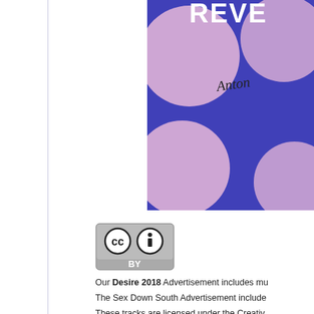[Figure (illustration): Cropped album art with purple/blue background, large pink polka dots, white text reading 'REVE' (partially visible), and a cursive signature partially visible reading 'Antonio' or similar.]
[Figure (logo): Creative Commons CC BY license badge — grey rectangle with CC and person icons and 'BY' text below.]
Our Desire 2018 Advertisement includes mu...
The Sex Down South Advertisement include...
These tracks are licensed under the Creativ...